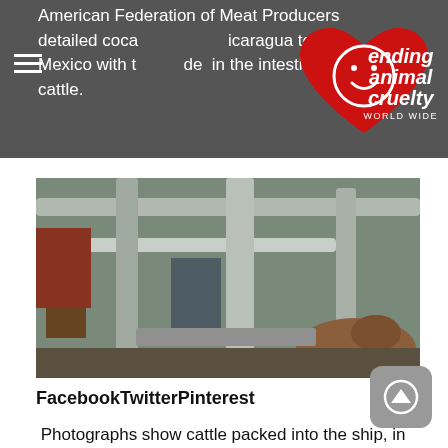American Federation of Meat Producers detailed coca...ng...icaragua to Mexico with t...de...in the intestines of cattle.
[Figure (logo): Red heart logo with smiley face and text 'ending animal cruelty WORLD WIDE']
[Figure (photo): Photograph showing cattle packed into a ship in dirty and crowded conditions, with pipes and metal railings visible]
FacebookTwitterPinterest
Photographs show cattle packed into the ship, in dirty and crowded conditions. Photograph: